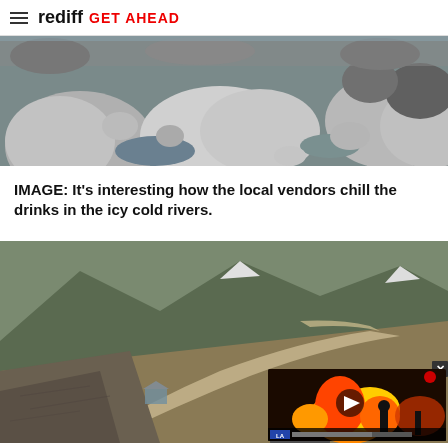rediff GET AHEAD
[Figure (photo): Rocky river bed with large stones and pebbles in an icy cold mountain river, with water visible between the rocks]
IMAGE: It's interesting how the local vendors chill the drinks in the icy cold rivers.
[Figure (photo): Mountain road winding through rocky terrain with steep hillsides. A person in a blue hat and sunglasses is visible in the foreground. An overlaid video player thumbnail shows a fire scene with a play button, plus a close button (X) in the top right corner.]